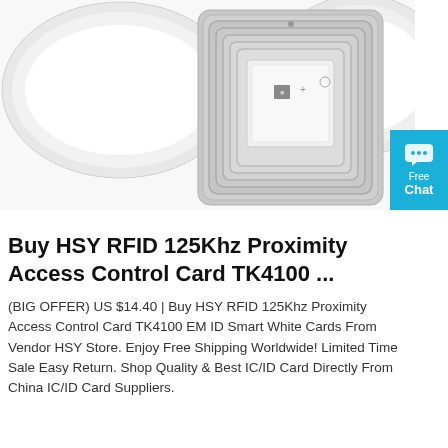[Figure (photo): Product photo of RFID proximity access control cards/tags on a white background. Shows white oval card holders and a rectangular RFID chip/inlay with a square antenna coil pattern visible.]
Buy HSY RFID 125Khz Proximity Access Control Card TK4100 ...
(BIG OFFER) US $14.40 | Buy HSY RFID 125Khz Proximity Access Control Card TK4100 EM ID Smart White Cards From Vendor HSY Store. Enjoy Free Shipping Worldwide! Limited Time Sale Easy Return. Shop Quality & Best IC/ID Card Directly From China IC/ID Card Suppliers.